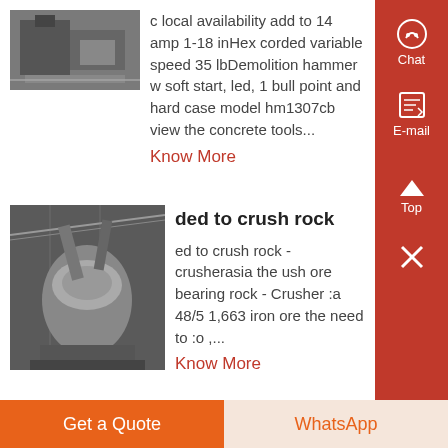[Figure (photo): Industrial machinery photo, top left entry]
c local availability add to 14 amp 1-18 inHex corded variable speed 35 lbDemolition hammer w soft start, led, 1 bull point and hard case model hm1307cb view the concrete tools...
Know More
[Figure (photo): Large industrial crusher machine inside a factory building]
ded to crush rock
ed to crush rock - crusherasia the ush ore bearing rock - Crusher :a 48/5 1,663 iron ore the need to :o ,...
Know More
Get a Quote
WhatsApp